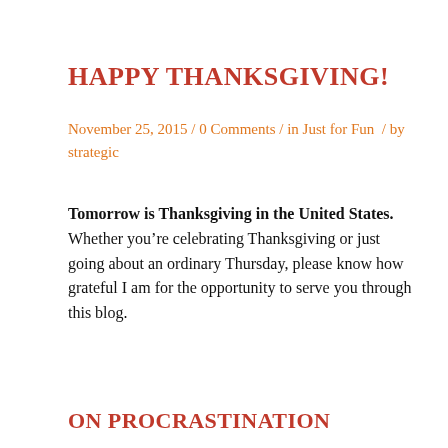HAPPY THANKSGIVING!
November 25, 2015 / 0 Comments / in Just for Fun  / by strategic
Tomorrow is Thanksgiving in the United States. Whether you’re celebrating Thanksgiving or just going about an ordinary Thursday, please know how grateful I am for the opportunity to serve you through this blog.
ON PROCRASTINATION